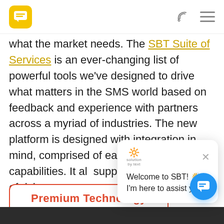SBT logo, phone icon, menu icon
what the market needs. The SBT Suite of Services is an ever-changing list of powerful tools we've designed to drive what matters in the SMS world based on feedback and experience with partners across a myriad of industries. The new platform is designed with integration in mind, comprised of easily integrated capabilities. It also supports the expansion of rich consumer needs and
[Figure (screenshot): Chat widget popup showing 'solution by text' logo with emoji, close X button, and message 'Welcome to SBT! I'm here to assist you.']
Premium Technology
[Figure (other): Blue circular chat FAB button with chat icon]